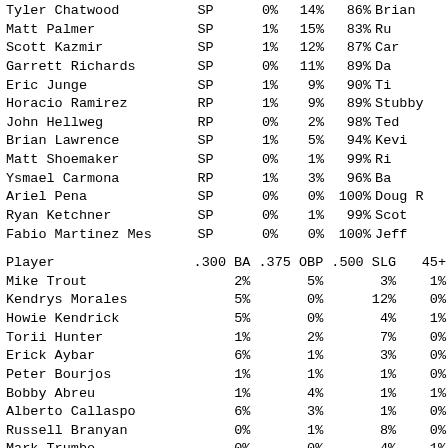| Player | Pos | 0% | 14% | 86% | Brian... |
| --- | --- | --- | --- | --- | --- |
| Tyler Chatwood | SP | 0% | 14% | 86% | Brian |
| Matt Palmer | SP | 1% | 15% | 83% | Ru |
| Scott Kazmir | SP | 1% | 12% | 87% | Car |
| Garrett Richards | SP | 0% | 11% | 89% | Da |
| Eric Junge | SP | 1% | 9% | 90% | Ti |
| Horacio Ramirez | RP | 1% | 9% | 89% | Stubby |
| John Hellweg | RP | 0% | 2% | 98% | Ted |
| Brian Lawrence | SP | 1% | 5% | 94% | Kevi |
| Matt Shoemaker | SP | 0% | 1% | 99% | Ri |
| Ysmael Carmona | RP | 1% | 3% | 96% | Ba |
| Ariel Pena | SP | 0% | 0% | 100% | Doug R |
| Ryan Ketchner | SP | 0% | 1% | 99% | Scot |
| Fabio Martinez Mes | SP | 0% | 0% | 100% | Jeff |
| Player | .300 BA | .375 OBP | .500 SLG | 45+ |
| --- | --- | --- | --- | --- |
| Mike Trout | 2% | 5% | 3% | 1% |
| Kendrys Morales | 5% | 0% | 12% | 0% |
| Howie Kendrick | 5% | 0% | 4% | 1% |
| Torii Hunter | 1% | 2% | 7% | 0% |
| Erick Aybar | 6% | 1% | 3% | 0% |
| Peter Bourjos | 1% | 1% | 1% | 0% |
| Bobby Abreu | 1% | 4% | 1% | 1% |
| Alberto Callaspo | 6% | 3% | 1% | 0% |
| Russell Branyan | 0% | 1% | 8% | 0% |
| Mark Trumbo | 0% | 0% | 4% | 1% |
| Vernon Wells | 2% | 0% | 2% | 0% |
| Maicer Izturis | 2% | 1% | 1% | 0% |
| Hank Conger | 1% | 1% | 1% | 0% |
| Jean Segura | 2% | 0% | 3% | 0% |
| Luis Jimenez | 0% | 0% | 0% | 21% |